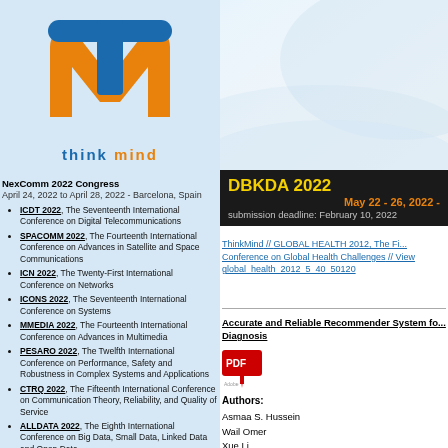[Figure (logo): ThinkMind logo - orange M shape with blue T overlaid, with 'think mind' text below in blue and orange]
Think
Min
DBKDA 2022
May 22 - 26, 2022 -
submission deadline: February 10, 2022
NexComm 2022 Congress
April 24, 2022 to April 28, 2022 - Barcelona, Spain
ICDT 2022, The Seventeenth International Conference on Digital Telecommunications
SPACOMM 2022, The Fourteenth International Conference on Advances in Satellite and Space Communications
ICN 2022, The Twenty-First International Conference on Networks
ICONS 2022, The Seventeenth International Conference on Systems
MMEDIA 2022, The Fourteenth International Conference on Advances in Multimedia
PESARO 2022, The Twelfth International Conference on Performance, Safety and Robustness in Complex Systems and Applications
CTRQ 2022, The Fifteenth International Conference on Communication Theory, Reliability, and Quality of Service
ALLDATA 2022, The Eighth International Conference on Big Data, Small Data, Linked Data and Open Data
SOFTENG 2022, The Eighth International Conference on Advances and Trends in Software Engineering
ThinkMind // GLOBAL HEALTH 2012, The Fi... Conference on Global Health Challenges // View global_health_2012_5_40_50120
Accurate and Reliable Recommender System fo... Diagnosis
[Figure (other): PDF download icon (Adobe PDF red arrow icon)]
Authors:
Asmaa S. Hussein
Wail Omer
Xue Li
Modafar Ati